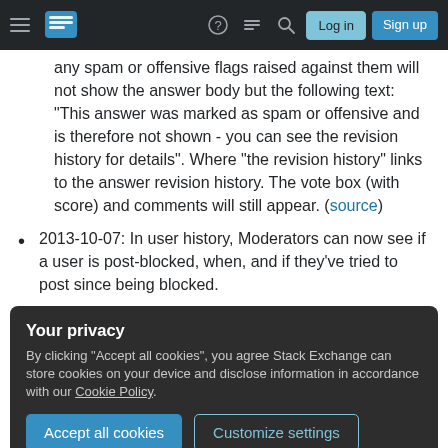Stack Exchange navigation bar with logo, help, search, log in, sign up
any spam or offensive flags raised against them will not show the answer body but the following text: "This answer was marked as spam or offensive and is therefore not shown - you can see the revision history for details". Where "the revision history" links to the answer revision history. The vote box (with score) and comments will still appear. (source)
2013-10-07: In user history, Moderators can now see if a user is post-blocked, when, and if they've tried to post since being blocked.
Your privacy
By clicking "Accept all cookies", you agree Stack Exchange can store cookies on your device and disclose information in accordance with our Cookie Policy.
Accept all cookies   Customize settings
2013-09-11: The dialog for flagging posts was